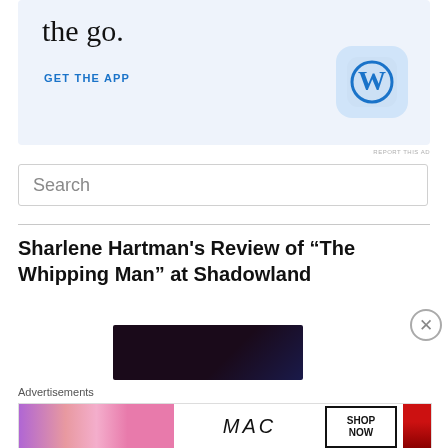[Figure (screenshot): WordPress app advertisement with light blue background, showing 'the go.' text, 'GET THE APP' link in blue, and WordPress W logo icon]
REPORT THIS AD
Search
Sharlene Hartman's Review of “The Whipping Man” at Shadowland
[Figure (photo): Dark theatrical photo, mostly black with a blue light]
Advertisements
[Figure (screenshot): MAC cosmetics advertisement showing lipsticks and SHOP NOW button]